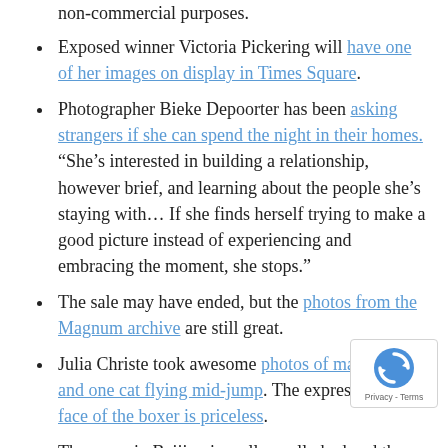non-commercial purposes.
Exposed winner Victoria Pickering will have one of her images on display in Times Square.
Photographer Bieke Depoorter has been asking strangers if she can spend the night in their homes. “She’s interested in building a relationship, however brief, and learning about the people she’s staying with… If she finds herself trying to make a good picture instead of experiencing and embracing the moment, she stops.”
The sale may have ended, but the photos from the Magnum archive are still great.
Julia Christe took awesome photos of many dogs and one cat flying mid-jump. The expression the face of the boxer is priceless.
The smog in Beijing is really, really bad and there